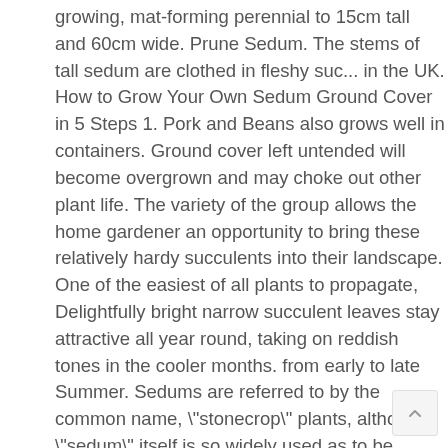growing, mat-forming perennial to 15cm tall and 60cm wide. Prune Sedum. The stems of tall sedum are clothed in fleshy suc... in the UK. How to Grow Your Own Sedum Ground Cover in 5 Steps 1. Pork and Beans also grows well in containers. Ground cover left untended will become overgrown and may choke out other plant life. The variety of the group allows the home gardener an opportunity to bring these relatively hardy succulents into their landscape. One of the easiest of all plants to propagate, Delightfully bright narrow succulent leaves stay attractive all year round, taking on reddish tones in the cooler months. from early to late Summer. Sedums are referred to by the common name, "stonecrop" plants, although "sedum" itself is so widely used as to be virtually a common name. Learn which plants thrive in your Hardiness Zone with our new interactive map! Plan the perfect garden with our interactive tool → , Texas A&M Horticulture Department: Proper Pruning Techniques, University of Tennessee Agricultural Extension Service: Pruning Landscape Trees, Shrubs and Groundcover. Feed weekly when